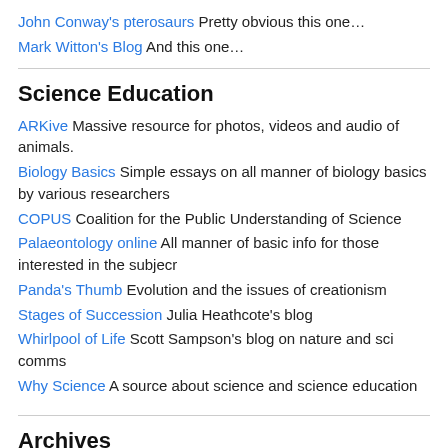John Conway's pterosaurs Pretty obvious this one…
Mark Witton's Blog And this one…
Science Education
ARKive Massive resource for photos, videos and audio of animals.
Biology Basics Simple essays on all manner of biology basics by various researchers
COPUS Coalition for the Public Understanding of Science
Palaeontology online All manner of basic info for those interested in the subjecr
Panda's Thumb Evolution and the issues of creationism
Stages of Succession Julia Heathcote's blog
Whirlpool of Life Scott Sampson's blog on nature and sci comms
Why Science A source about science and science education
Archives